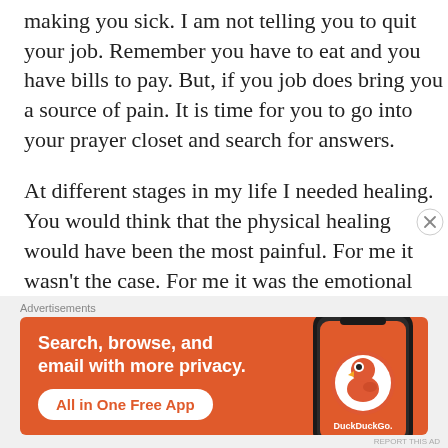making you sick. I am not telling you to quit your job. Remember you have to eat and you have bills to pay. But, if you job does bring you a source of pain. It is time for you to go into your prayer closet and search for answers.
At different stages in my life I needed healing. You would think that the physical healing would have been the most painful. For me it wasn't the case. For me it was the emotional healing.
I was in an environment that was toxic and
[Figure (other): DuckDuckGo advertisement banner: orange background with text 'Search, browse, and email with more privacy.' and button 'All in One Free App', alongside an image of a smartphone with DuckDuckGo logo and branding.]